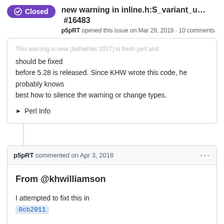Closed | new warning in inline.h:S_variant_u... #16483 | p5pRT opened this issue on Mar 28, 2018 · 10 comments
This warning is new (fall/winter 2017) is fresh perl and should be fixed before 5.28 is released. Since KHW wrote this code, he probably knows best how to silence the warning or change types.
▶ Perl Info
p5pRT commented on Apr 3, 2018
From @khwilliamson
I attempted to fixt this in
0cb2911

Please verify one way or another if it is fixed.
--
Karl Williamson